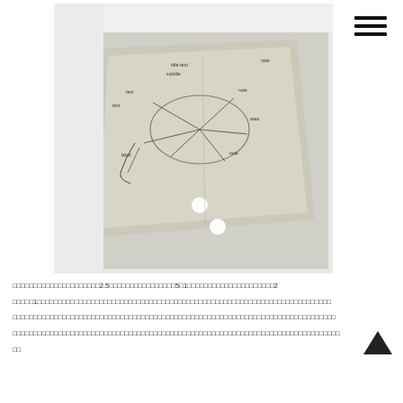[Figure (photo): A photograph of a handwritten sketch/map on a translucent or light-colored sheet of paper, placed flat on a white surface. The sketch contains handwritten notes and a rough map or diagram with lines and annotations, viewed from above at a slight angle. Two small bright light reflections are visible on the lower portion of the paper.]
□□□□□□□□□□□□□□□□□□□□□2.5□□□□□□□□□□□□□□□□5□1□□□□□□□□□□□□□□□□□□□□□2
□□□□□1□□□□□□□□□□□□□□□□□□□□□□□□□□□□□□□□□□□□□□□□□□□□□□□□□□□□□□□□□□□□□□□□□□□□□□□
□□□□□□□□□□□□□□□□□□□□□□□□□□□□□□□□□□□□□□□□□□□□□□□□□□□□□□□□□□□□□□□□□□□□□□□□□□□□□□
□□□□□□□□□□□□□□□□□□□□□□□□□□□□□□□□□□□□□□□□□□□□□□□□□□□□□□□□□□□□□□□□□□□□□□□□□□□□□□□
□□